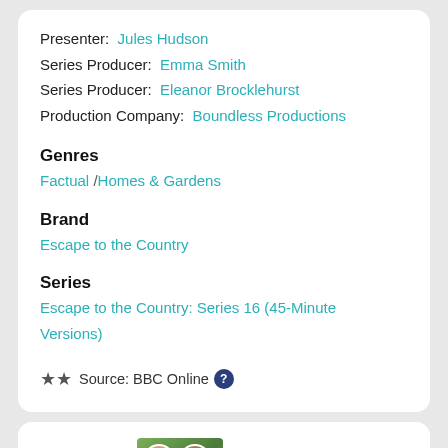Presenter: Jules Hudson
Series Producer: Emma Smith
Series Producer: Eleanor Brocklehurst
Production Company: Boundless Productions
Genres
Factual /Homes & Gardens
Brand
Escape to the Country
Series
Escape to the Country: Series 16 (45-Minute Versions)
Source: BBC Online
15:45
The